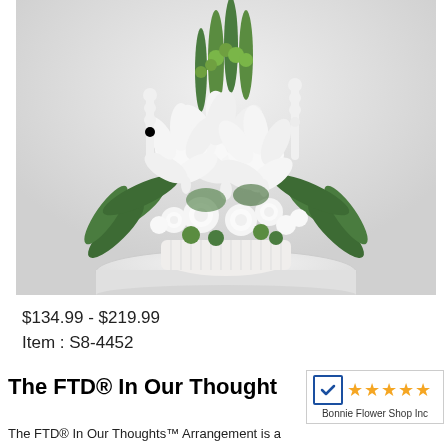[Figure (photo): White and green flower arrangement in a white wicker basket on a white round table, against a white paneled wall background. The arrangement features white lilies, white roses, white snapdragons, and green foliage including ferns and green button flowers.]
$134.99 - $219.99
Item : S8-4452
The FTD® In Our Thoughts™ A
[Figure (logo): Bizrate/Nextag style rating badge showing a blue checkmark icon and 5 orange stars, with text 'Bonnie Flower Shop Inc' below]
The FTD® In Our Thoughts™ Arrangement is a